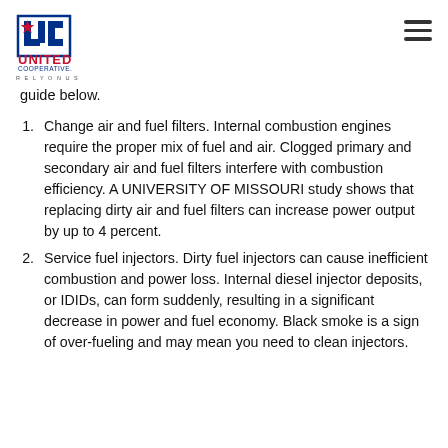United Cooperative — RELY ON US
guide below.
Change air and fuel filters. Internal combustion engines require the proper mix of fuel and air. Clogged primary and secondary air and fuel filters interfere with combustion efficiency. A UNIVERSITY OF MISSOURI study shows that replacing dirty air and fuel filters can increase power output by up to 4 percent.
Service fuel injectors. Dirty fuel injectors can cause inefficient combustion and power loss. Internal diesel injector deposits, or IDIDs, can form suddenly, resulting in a significant decrease in power and fuel economy. Black smoke is a sign of over-fueling and may mean you need to clean injectors.